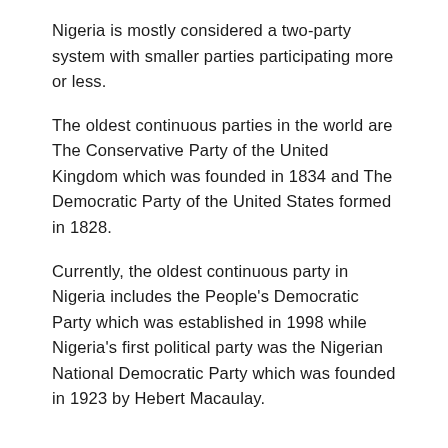Nigeria is mostly considered a two-party system with smaller parties participating more or less.
The oldest continuous parties in the world are The Conservative Party of the United Kingdom which was founded in 1834 and The Democratic Party of the United States formed in 1828.
Currently, the oldest continuous party in Nigeria includes the People's Democratic Party which was established in 1998 while Nigeria's first political party was the Nigerian National Democratic Party which was founded in 1923 by Hebert Macaulay.
Political Ideologies